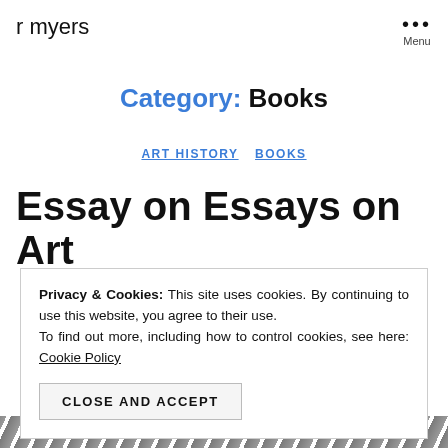r myers
Category: Books
ART HISTORY  BOOKS
Essay on Essays on Art
Privacy & Cookies: This site uses cookies. By continuing to use this website, you agree to their use. To find out more, including how to control cookies, see here: Cookie Policy
CLOSE AND ACCEPT
[Figure (photo): Decorative image strip at the bottom of the page showing a textured pattern]